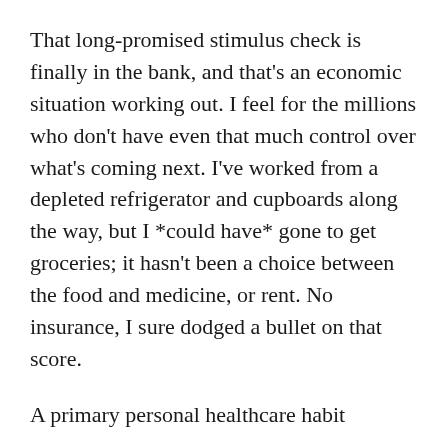That long-promised stimulus check is finally in the bank, and that's an economic situation working out. I feel for the millions who don't have even that much control over what's coming next. I've worked from a depleted refrigerator and cupboards along the way, but I *could have* gone to get groceries; it hasn't been a choice between the food and medicine, or rent. No insurance, I sure dodged a bullet on that score.
A primary personal healthcare habit
Two bike accidents since end of March lock down aside, I consider cycling a primary personal healthcare habit – it gets a major share of credit